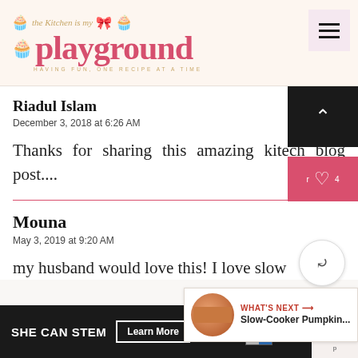the Kitchen is my playground — HAVING FUN, ONE RECIPE AT A TIME
Riadul Islam
December 3, 2018 at 6:26 AM
Thanks for sharing this amazing kitech blog post....
Mouna
May 3, 2019 at 9:20 AM
my husband would love this! I love slow
[Figure (other): WHAT'S NEXT arrow label with thumbnail image and text: Slow-Cooker Pumpkin...]
SHE CAN STEM — Learn More — ad council